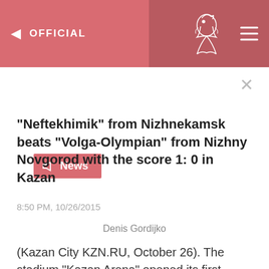OFFICIAL
News
"Neftekhimik" from Nizhnekamsk beats "Volga-Olympian" from Nizhny Novgorod with the score 1: 0 in Kazan
8:50 PM, 10/26/2015
Denis Gordijko
(Kazan City KZN.RU, October 26). The stadium "Kazan Arena" opened its first football season with the match of professional football league in the area ofthe Ural-Volga region between the clubs